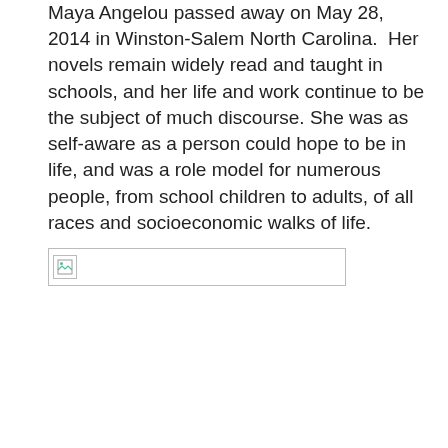Maya Angelou passed away on May 28, 2014 in Winston-Salem North Carolina.  Her novels remain widely read and taught in schools, and her life and work continue to be the subject of much discourse. She was as self-aware as a person could hope to be in life, and was a role model for numerous people, from school children to adults, of all races and socioeconomic walks of life.
[Figure (photo): A broken/unloaded image placeholder showing a small broken image icon in the top-left corner of a bordered rectangle]